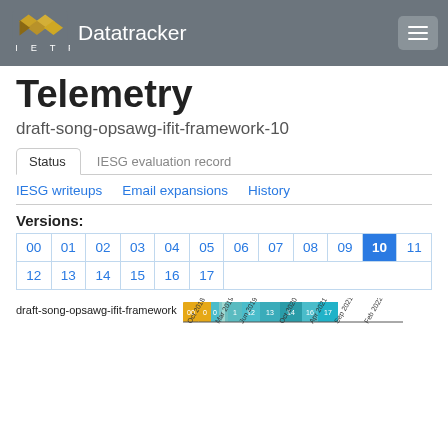IETF Datatracker
Telemetry
draft-song-opsawg-ifit-framework-10
Status | IESG evaluation record
IESG writeups | Email expansions | History
Versions:
| 00 | 01 | 02 | 03 | 04 | 05 | 06 | 07 | 08 | 09 | 10 | 11 |
| 12 | 13 | 14 | 15 | 16 | 17 |
[Figure (other): Timeline bar chart showing draft-song-opsawg-ifit-framework versions over time from Oct 2018 to Feb 2022, with colored blocks for version numbers 00, 01, 02, 03 (orange/teal), and 12, 13, 14, 16, 17 (teal/cyan)]